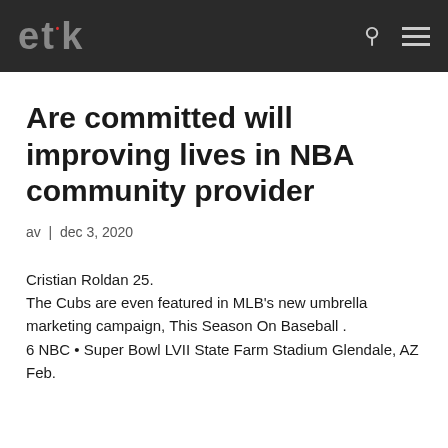etik
Are committed will improving lives in NBA community provider
av | dec 3, 2020
Cristian Roldan 25.
The Cubs are even featured in MLB's new umbrella marketing campaign, This Season On Baseball .
6 NBC • Super Bowl LVII State Farm Stadium Glendale, AZ Feb.